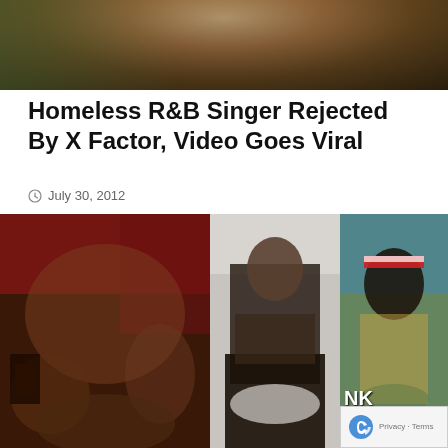[Figure (photo): Top cropped photo showing a person in a textured jacket outdoors near a chain-link fence]
Homeless R&B Singer Rejected By X Factor, Video Goes Viral
July 30, 2012
[Figure (photo): Three side-by-side photos: left shows group of people in a recording studio with red lighting; center shows a man in black leather jacket with hood and sunglasses; right shows a man in colorful shirt with red and white headband]